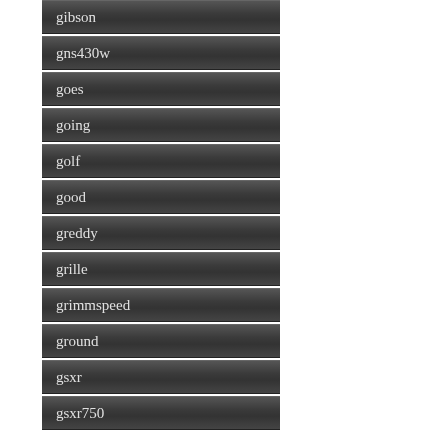gibson
gns430w
goes
going
golf
good
greddy
grille
grimmspeed
ground
gsxr
gsxr750